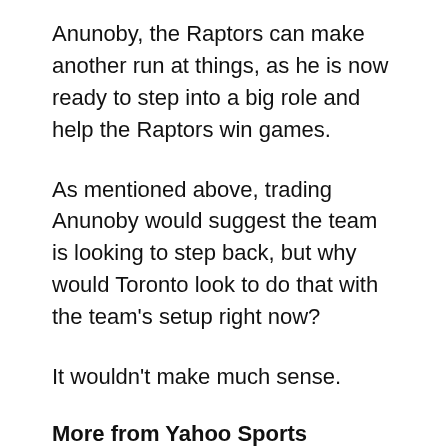Anunoby, the Raptors can make another run at things, as he is now ready to step into a big role and help the Raptors win games.
As mentioned above, trading Anunoby would suggest the team is looking to step back, but why would Toronto look to do that with the team's setup right now?
It wouldn't make much sense.
More from Yahoo Sports